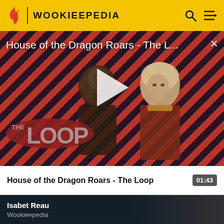WOOKIEEPEDIA
[Figure (screenshot): Video thumbnail for 'House of the Dragon Roars - The L...' showing two characters from House of the Dragon against diagonal red and black striped background. A play button is centered. The Loop logo is in the lower left. An X close button is in the upper right.]
House of the Dragon Roars - The L...
House of the Dragon Roars - The Loop
01:43
[Figure (photo): Dark thumbnail showing a person's face, with 'Isabet Reau' as the name and 'Wookieepedia' as subtitle]
Isabet Reau
Wookieepedia